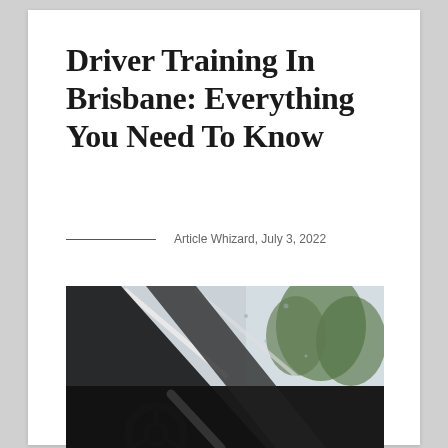Driver Training In Brisbane: Everything You Need To Know
Article Whizard, July 3, 2022
[Figure (photo): Close-up interior view of a vehicle showing the steering wheel and windshield wipers against a rainy windshield with green trees visible outside.]